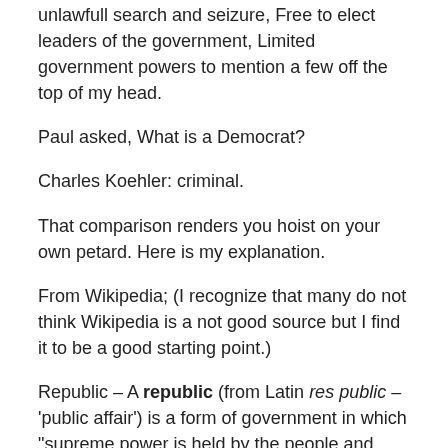Freedom of Religion, Free to carry a firearm, Freedom from unlawfull search and seizure, Free to elect leaders of the government, Limited government powers to mention a few off the top of my head.
Paul asked, What is a Democrat?
Charles Koehler: criminal.
That comparison renders you hoist on your own petard. Here is my explanation.
From Wikipedia; (I recognize that many do not think Wikipedia is a not good source but I find it to be a good starting point.)
Republic – A republic (from Latin res public – 'public affair') is a form of government in which "supreme power is held by the people and their elected representatives". In